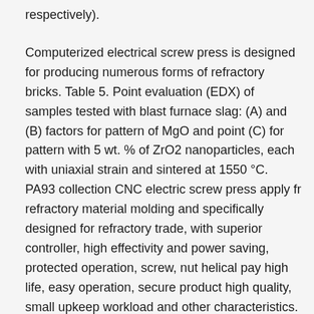respectively).
Computerized electrical screw press is designed for producing numerous forms of refractory bricks. Table 5. Point evaluation (EDX) of samples tested with blast furnace slag: (A) and (B) factors for pattern of MgO and point (C) for pattern with 5 wt. % of ZrO2 nanoparticles, each with uniaxial strain and sintered at 1550 °C. PA93 collection CNC electric screw press apply fr refractory material molding and specifically designed for refractory trade, with superior controller, high effectivity and power saving, protected operation, screw, nut helical pay high life, easy operation, secure product high quality, small upkeep workload and other characteristics. Determine 8. SEM image of the pattern of 5 wt. % of ZrO2 nanoparticles sintered at 1650 °C with isostatic pressure, chemically attacked with slag. That is, adding an acceptable proportion of water or different liquid adhesive to materials to press ball with low-strain. 7. A hydraulic press